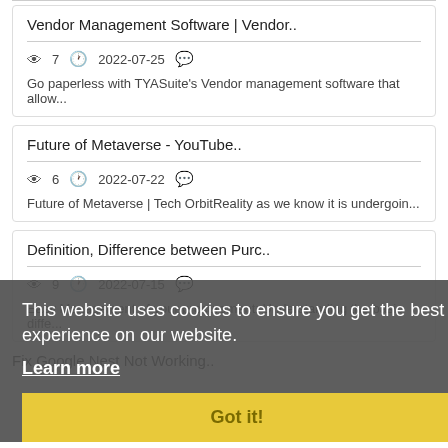Vendor Management Software | Vendor..
👁 7  🕐 2022-07-25  💬
Go paperless with TYASuite's Vendor management software that allow...
Future of Metaverse - YouTube..
👁 6  🕐 2022-07-22  💬
Future of Metaverse | Tech OrbitReality as we know it is undergoin...
Definition, Difference between Purc..
👁 9  🕐 2022-07-15  💬
Easy Management of your procurement: Understanding the basic diffe...
Fix Google Nest Not Working..
This website uses cookies to ensure you get the best experience on our website.
Learn more
Got it!